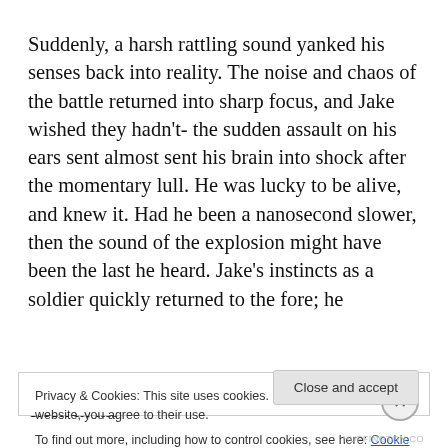Suddenly, a harsh rattling sound yanked his senses back into reality. The noise and chaos of the battle returned into sharp focus, and Jake wished they hadn't- the sudden assault on his ears sent almost sent his brain into shock after the momentary lull. He was lucky to be alive, and knew it. Had he been a nanosecond slower, then the sound of the explosion might have been the last he heard. Jake's instincts as a soldier quickly returned to the fore; he flicked his head round to his right, ignoring the crick in his
Privacy & Cookies: This site uses cookies. By continuing to use this website, you agree to their use.
To find out more, including how to control cookies, see here: Cookie Policy
Close and accept
HUFFINGTON.CO